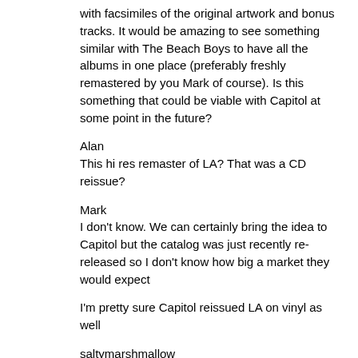with facsimiles of the original artwork and bonus tracks. It would be amazing to see something similar with The Beach Boys to have all the albums in one place (preferably freshly remastered by you Mark of course). Is this something that could be viable with Capitol at some point in the future?
Alan
This hi res remaster of LA? That was a CD reissue?
Mark
I don't know. We can certainly bring the idea to Capitol but the catalog was just recently re-released so I don't know how big a market they would expect
I'm pretty sure Capitol reissued LA on vinyl as well
saltymarshmallow
This is a two part question because one is probably unanswerable right here - first, in the "Brian's secret bedroom tapes" article (yeah, I know there was a lot of embellishment there) it was said that Ed Roach has a cassette from Murry with a second fairy tale by Brian recorded in the 70s, is that true? And part two (the unanswerable part) is it known what order all the 1968 sections in the new Can't Wait Too Long montage were recorded in? Because that entire song makes my brain hurt. Feel free to veto this part
Mark